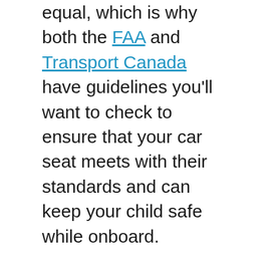equal, which is why both the FAA and Transport Canada have guidelines you'll want to check to ensure that your car seat meets with their standards and can keep your child safe while onboard.
Keep a lookout for white stickers on car seats. If they are approved by the FAA for use on planes they should have a message in small red letters saying so.
On the one hand, every major US airline allows baby car seats. Even better, at present, these airlines do not charge for a baby car seat, though this is always